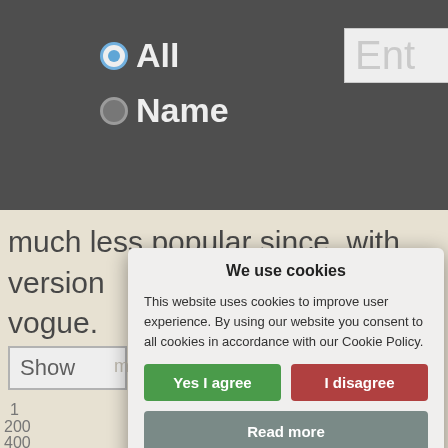[Figure (screenshot): Dark navigation bar with radio buttons: 'All' (selected, blue dot) and 'Name', with a partial text input box showing 'Ent']
much less popular since, with version vogue.
[Figure (screenshot): Show dropdown bar with 'more comparisons' text in light gray]
[Figure (screenshot): Partial chart with y-axis labels 1, 200, 400 and scattered red dots, with 'Did you know? Popularity rank at birth na' text]
[Figure (screenshot): Cookie consent dialog overlay with title 'We use cookies', body text about cookie policy, 'Yes I agree' green button, 'I disagree' red button, 'Read more' gray button, and footer 'Free cookie consent by cookie-script.com']